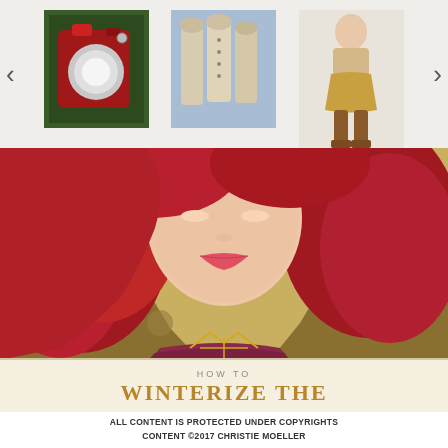[Figure (photo): Top carousel with three product thumbnail images: a dark red/green vintage camera, a beige cardigan on dress forms with blue background, a woman in a gold skirt wearing tall brown boots. Navigation arrows on left and right.]
[Figure (photo): Main portrait photo of a woman with vibrant red hair, wearing a floral gold-toned jacket and burgundy scarf with gold geometric necklace, against a floral background.]
HOW TO
WINTERIZE THE
ALL CONTENT IS PROTECTED UNDER COPYRIGHTS CONTENT ©2017 CHRISTIE MOELLER